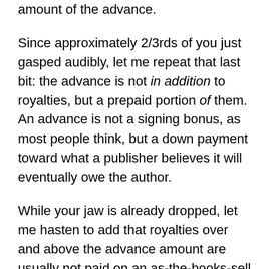amount of the advance.
Since approximately 2/3rds of you just gasped audibly, let me repeat that last bit: the advance is not in addition to royalties, but a prepaid portion of them. An advance is not a signing bonus, as most people think, but a down payment toward what a publisher believes it will eventually owe the author.
While your jaw is already dropped, let me hasten to add that royalties over and above the advance amount are usually not paid on an as-the-books-sell basis, which could entail the publisher's cutting a check every other day, but at